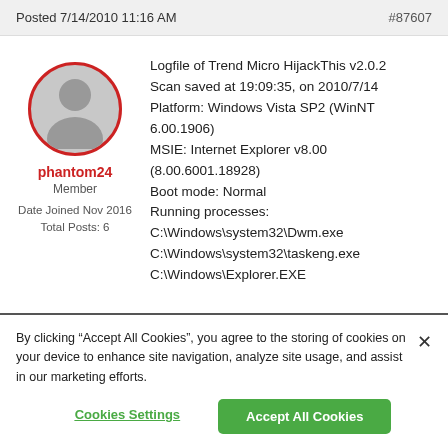Posted 7/14/2010 11:16 AM   #87607
[Figure (illustration): Generic user avatar silhouette in a circle with red border]
phantom24
Member
Date Joined Nov 2016
Total Posts: 6
Logfile of Trend Micro HijackThis v2.0.2
Scan saved at 19:09:35, on 2010/7/14
Platform: Windows Vista SP2 (WinNT 6.00.1906)
MSIE: Internet Explorer v8.00 (8.00.6001.18928)
Boot mode: Normal
Running processes:
C:\Windows\system32\Dwm.exe
C:\Windows\system32\taskeng.exe
C:\Windows\Explorer.EXE
By clicking “Accept All Cookies”, you agree to the storing of cookies on your device to enhance site navigation, analyze site usage, and assist in our marketing efforts.
Cookies Settings
Accept All Cookies